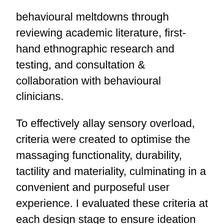behavioural meltdowns through reviewing academic literature, first-hand ethnographic research and testing, and consultation & collaboration with behavioural clinicians.
To effectively allay sensory overload, criteria were created to optimise the massaging functionality, durability, tactility and materiality, culminating in a convenient and purposeful user experience. I evaluated these criteria at each design stage to ensure ideation and concept refinement aligned with them.
Design Features
Serene Vibe features haptic engines, which